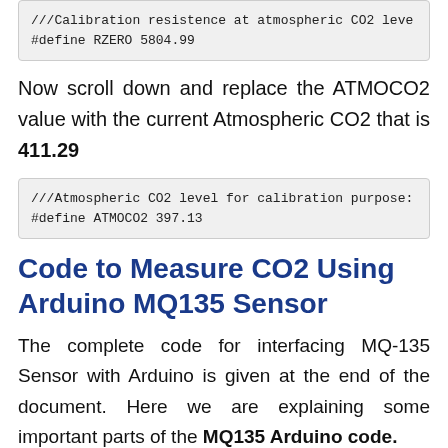[Figure (screenshot): Code block showing: ///Calibration resistence at atmospheric CO2 leve
#define RZERO 5804.99]
Now scroll down and replace the ATMOCO2 value with the current Atmospheric CO2 that is 411.29
[Figure (screenshot): Code block showing: ///Atmospheric CO2 level for calibration purpose:
#define ATMOCO2 397.13]
Code to Measure CO2 Using Arduino MQ135 Sensor
The complete code for interfacing MQ-135 Sensor with Arduino is given at the end of the document. Here we are explaining some important parts of the MQ135 Arduino code.
The code uses the Adafruit GFX and